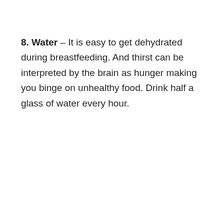8. Water – It is easy to get dehydrated during breastfeeding. And thirst can be interpreted by the brain as hunger making you binge on unhealthy food. Drink half a glass of water every hour.